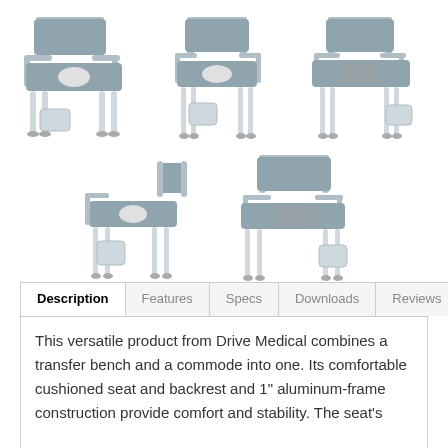[Figure (photo): Five medical transfer bench commode chairs shown from different angles, with padded gray seats, backrests, armrests, and aluminum frames with commode buckets underneath.]
Description | Features | Specs | Downloads | Reviews
This versatile product from Drive Medical combines a transfer bench and a commode into one. Its comfortable cushioned seat and backrest and 1" aluminum-frame construction provide comfort and stability. The seat's